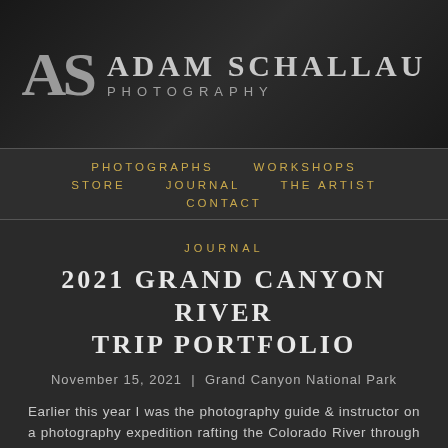AS ADAM SCHALLAU PHOTOGRAPHY
PHOTOGRAPHS    WORKSHOPS    STORE    JOURNAL    THE ARTIST    CONTACT
JOURNAL
2021 GRAND CANYON RIVER TRIP PORTFOLIO
November 15, 2021 | Grand Canyon National Park
Earlier this year I was the photography guide & instructor on a photography expedition rafting the Colorado River through the Grand Canyon. Our